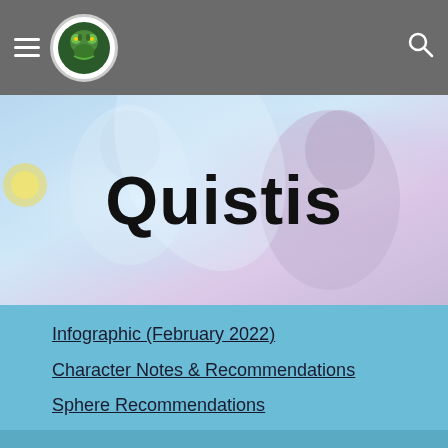Navigation header with hamburger menu, site logo, and search icon
Quistis
Infographic (February 2022)
Character Notes & Recommendations
Sphere Recommendations
How-To-Play Notes